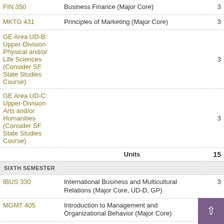| Course | Description | Units |
| --- | --- | --- |
| FIN 350 | Business Finance (Major Core) | 3 |
| MKTG 431 | Principles of Marketing (Major Core) | 3 |
| GE Area UD-B: | Upper-Division Physical and/or Life Sciences (Consider SF State Studies Course) | 3 |
| GE Area UD-C: | Upper-Division Arts and/or Humanities (Consider SF State Studies Course) | 3 |
|  | Units | 15 |
| SIXTH SEMESTER |  |  |
| IBUS 330 | International Business and Multicultural Relations (Major Core, UD-D, GP) | 3 |
| MGMT 405 | Introduction to Management and Organizational Behavior (Major Core) | 3 |
| MKTG 632 | Marketing Research (Major Concentration) | 3 |
| MKTG 633 | Consumer Behavior (Major Concentration) | 3 |